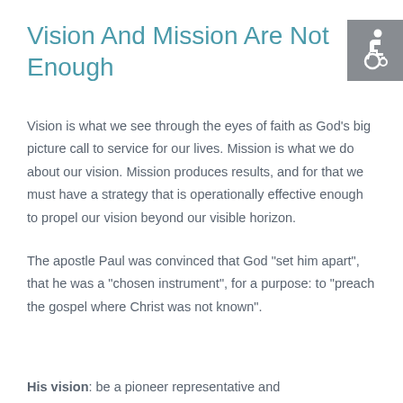Vision And Mission Are Not Enough
[Figure (illustration): Wheelchair accessibility icon on grey background]
Vision is what we see through the eyes of faith as God’s big picture call to service for our lives. Mission is what we do about our vision. Mission produces results, and for that we must have a strategy that is operationally effective enough to propel our vision beyond our visible horizon.
The apostle Paul was convinced that God “set him apart”, that he was a “chosen instrument”, for a purpose: to “preach the gospel where Christ was not known”.
His vision:  be a pioneer representative and